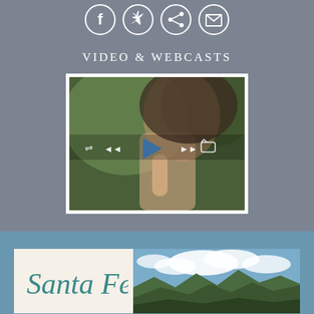[Figure (illustration): Four circular social media icons (Facebook, Twitter, LinkedIn/share, and email/envelope) shown in white outline on gray background]
VIDEO & WEBCASTS
[Figure (photo): A woman pressing a play button with media playback controls (shuffle, rewind, play triangle, fast-forward, repeat) overlaid on a blurred background]
[Figure (illustration): Santa Fe city logo in teal cursive script on cream background alongside a mountain landscape photograph]